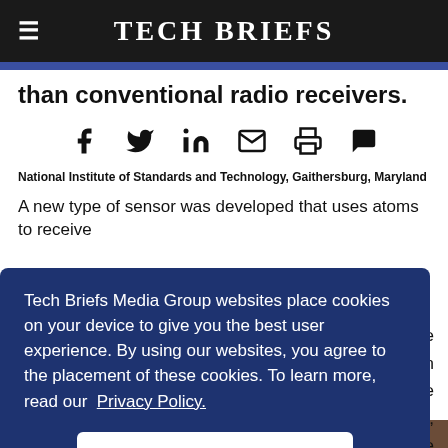Tech Briefs
than conventional radio receivers.
[Figure (infographic): Social sharing icons row: Facebook, Twitter, LinkedIn, Email, Print, Comment]
National Institute of Standards and Technology, Gaithersburg, Maryland
A new type of sensor was developed that uses atoms to receive ... ere ... n ... ellite ... on, ... lative ... oded in ...
Tech Briefs Media Group websites place cookies on your device to give you the best user experience. By using our websites, you agree to the placement of these cookies. To learn more, read our Privacy Policy.
Accept & Continue